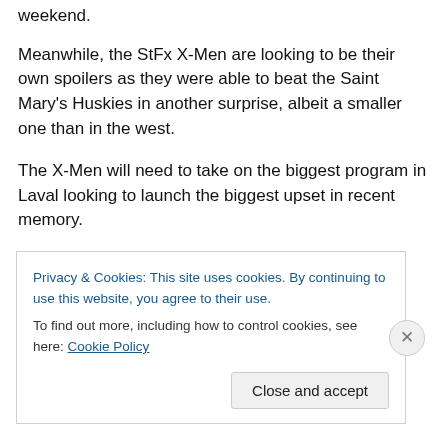weekend.
Meanwhile, the StFx X-Men are looking to be their own spoilers as they were able to beat the Saint Mary's Huskies in another surprise, albeit a smaller one than in the west.
The X-Men will need to take on the biggest program in Laval looking to launch the biggest upset in recent memory.
That will leave the Vanier Cup with plenty of possibilities but two very different and very interesting ones.
Privacy & Cookies: This site uses cookies. By continuing to use this website, you agree to their use.
To find out more, including how to control cookies, see here: Cookie Policy